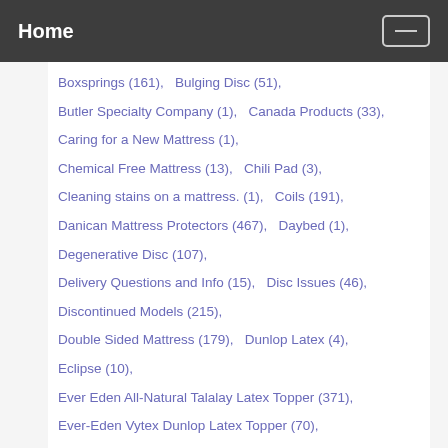Home
Boxsprings (161),   Bulging Disc (51),
Butler Specialty Company (1),   Canada Products (33),
Caring for a New Mattress (1),
Chemical Free Mattress (13),   Chili Pad (3),
Cleaning stains on a mattress. (1),   Coils (191),
Danican Mattress Protectors (467),   Daybed (1),
Degenerative Disc (107),
Delivery Questions and Info (15),   Disc Issues (46),
Discontinued Models (215),
Double Sided Mattress (179),   Dunlop Latex (4),
Eclipse (10),
Ever Eden All-Natural Talalay Latex Topper (371),
Ever-Eden Vytex Dunlop Latex Topper (70),